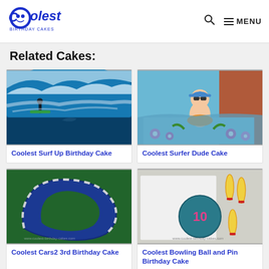Coolest Birthday Cakes — MENU
Related Cakes:
[Figure (photo): A surf up birthday cake showing a surfer riding a large blue ocean wave with a dolphin]
Coolest Surf Up Birthday Cake
[Figure (photo): A surfer dude birthday cake with a cartoon baby figure wearing sunglasses on a surfboard, surrounded by blue frosting and flower decorations]
Coolest Surfer Dude Cake
[Figure (photo): A Cars2 3rd birthday cake shaped like a race track with green and blue colors and white dashed track lines]
Coolest Cars2 3rd Birthday Cake
[Figure (photo): A bowling ball and pin birthday cake with a teal bowling ball showing number 10 and yellow and red bowling pins]
Coolest Bowling Ball and Pin Birthday Cake